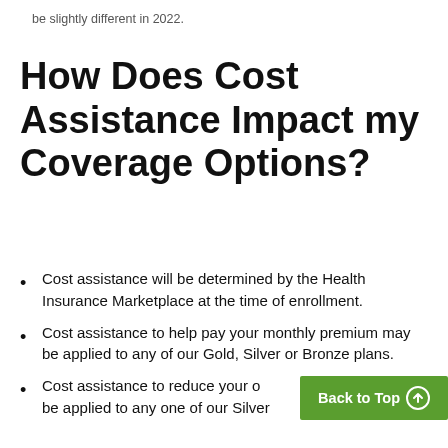be slightly different in 2022.
How Does Cost Assistance Impact my Coverage Options?
Cost assistance will be determined by the Health Insurance Marketplace at the time of enrollment.
Cost assistance to help pay your monthly premium may be applied to any of our Gold, Silver or Bronze plans.
Cost assistance to reduce your o… costs may be applied to any one of our Silver